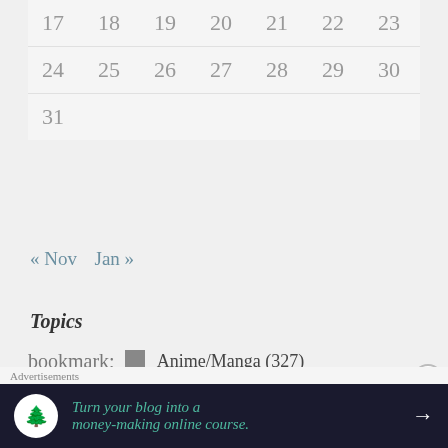| 17 | 18 | 19 | 20 | 21 | 22 | 23 |
| 24 | 25 | 26 | 27 | 28 | 29 | 30 |
| 31 |  |  |  |  |  |  |
« Nov   Jan »
Topics
Anime/Manga (327)
Charts/List (21)
First Impression (11)
Advertisements
Turn your blog into a money-making online course.